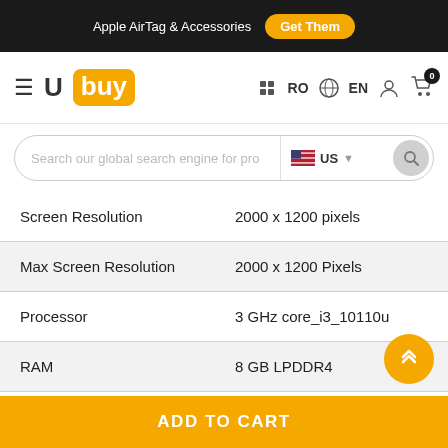Apple AirTag & Accessories  Get Them
[Figure (logo): Ubuy logo with orange background and navigation icons (RO, EN, user, cart)]
[Figure (screenshot): Search bar with text 'Search our global search engine for pro', US flag, and search button]
| Specification | Value |
| --- | --- |
| Screen Resolution | 2000 x 1200 pixels |
| Max Screen Resolution | 2000 x 1200 Pixels |
| Processor | 3 GHz core_i3_10110u |
| RAM | 8 GB LPDDR4 |
| Memory Speed | 4.1 GHz |
ADD TO CART